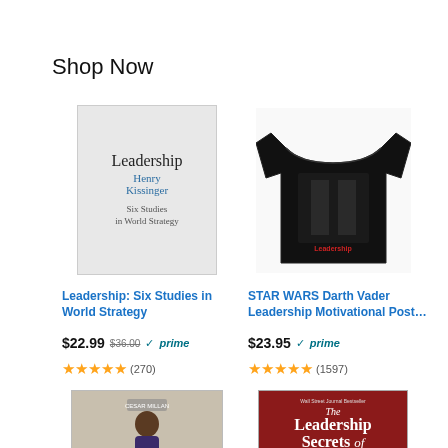Shop Now
[Figure (photo): Book cover: Leadership by Henry Kissinger - Six Studies in World Strategy]
Leadership: Six Studies in World Strategy
$22.99 $36.00 ✓prime (270 reviews, 5 stars)
[Figure (photo): Black t-shirt with STAR WARS Darth Vader image]
STAR WARS Darth Vader Leadership Motivational Post…
$23.95 ✓prime (1597 reviews, 5 stars)
[Figure (photo): DVD/book: Mastering Leadership by Cesar Millan]
[Figure (photo): Book cover: The Leadership Secrets of Nick Saban by John Talty]